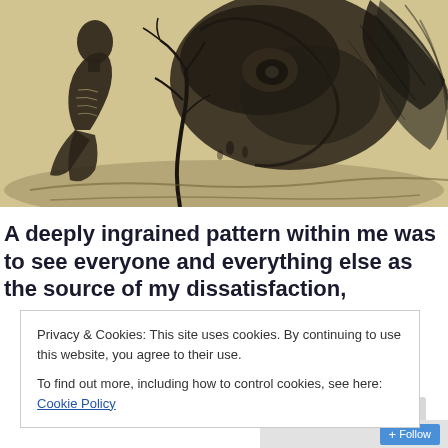[Figure (illustration): A dark surrealist pencil/ink drawing on a yellowed background. On the left, a gaunt emaciated figure sits with their back turned, ribs visible, bald head. In the center is a bare twisted tree/branch. In the background, a massive swirling dark cloud-like skull or creature looms, with smaller human figures in the middle distance. On the right side are large feather-like or wing-like dark strokes.]
A deeply ingrained pattern within me was to see everyone and everything else as the source of my dissatisfaction,
Privacy & Cookies: This site uses cookies. By continuing to use this website, you agree to their use.
To find out more, including how to control cookies, see here: Cookie Policy
Close and accept